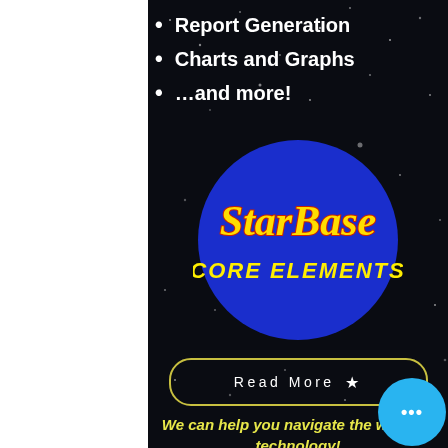Report Generation
Charts and Graphs
…and more!
[Figure (logo): StarBase Core Elements circular logo — blue circle with yellow and red stylized text 'StarBase' and yellow bold text 'CORE ELEMENTS']
Read More ★
We can help you navigate the world of technology!
Technical Services
Stellar provides outstanding and friendly technical support. Whether